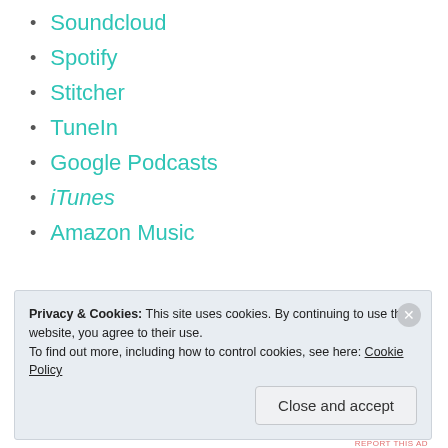Soundcloud
Spotify
Stitcher
TuneIn
Google Podcasts
iTunes
Amazon Music
[Figure (screenshot): Advertisement banner for a journaling app with blue background, showing icons and text 'The only journaling app you'll ever need.']
Privacy & Cookies: This site uses cookies. By continuing to use this website, you agree to their use. To find out more, including how to control cookies, see here: Cookie Policy
Close and accept